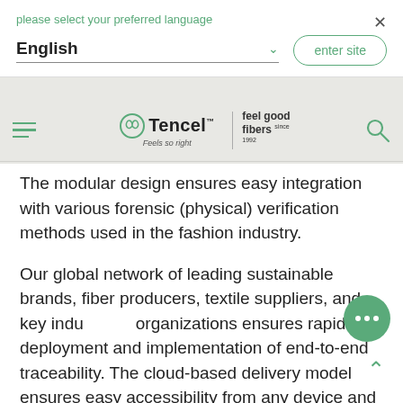please select your preferred language
English
[Figure (logo): Tencel brand logo with spiral leaf icon, tagline 'Feels so right', and 'feel good fibers since 1992' text]
The modular design ensures easy integration with various forensic (physical) verification methods used in the fashion industry.
Our global network of leading sustainable brands, fiber producers, textile suppliers, and key industry organizations ensures rapid deployment and implementation of end-to-end traceability. The cloud-based delivery model ensures easy accessibility from any device and is available